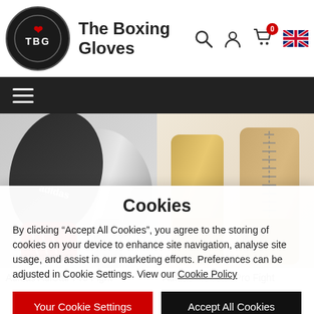The Boxing Gloves
[Figure (screenshot): Website header with TBG logo, site title 'The Boxing Gloves', search icon, user icon, cart icon with badge '0', and UK flag icon]
[Figure (photo): Two product images side by side: left shows Adidas black/red/silver boxing gloves, right shows gold/tan Adidas boxing gloves]
Adidas AdiStar Pro Fight
Adidas Mexican Pro Fight
Cookies
By clicking “Accept All Cookies”, you agree to the storing of cookies on your device to enhance site navigation, analyse site usage, and assist in our marketing efforts. Preferences can be adjusted in Cookie Settings. View our Cookie Policy
Your Cookie Settings
Accept All Cookies